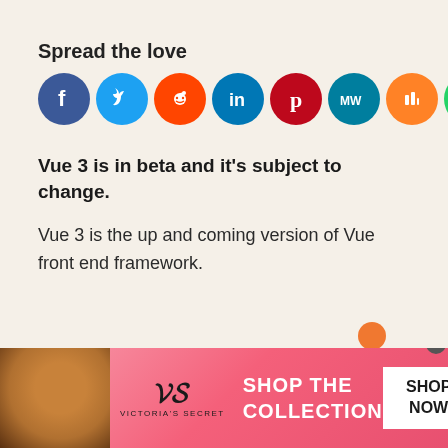Spread the love
[Figure (infographic): Row of 9 social media sharing icons as colored circles: Facebook (blue), Twitter (light blue), Reddit (orange-red), LinkedIn (blue), Pinterest (red), MeWe (teal), Mix (orange), WhatsApp (green), Share (orange)]
Vue 3 is in beta and it’s subject to change.
Vue 3 is the up and coming version of Vue front end framework.
[Figure (photo): Victoria's Secret advertisement banner showing a model, the VS logo, text 'SHOP THE COLLECTION', and a 'SHOP NOW' button on a pink/red gradient background]